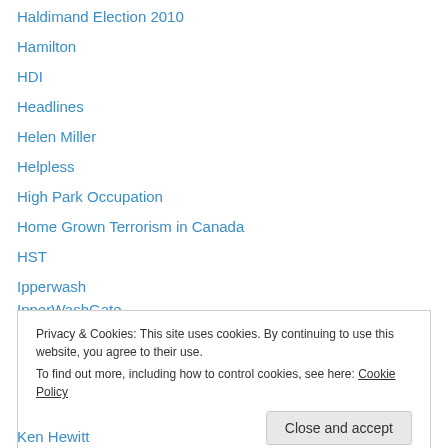Haldimand Election 2010
Hamilton
HDI
Headlines
Helen Miller
Helpless
High Park Occupation
Home Grown Terrorism in Canada
HST
Ipperwash
IpperWashGate
Jan Longboat
Jeff Parkinson
Privacy & Cookies: This site uses cookies. By continuing to use this website, you agree to their use.
To find out more, including how to control cookies, see here: Cookie Policy
Ken Hewitt